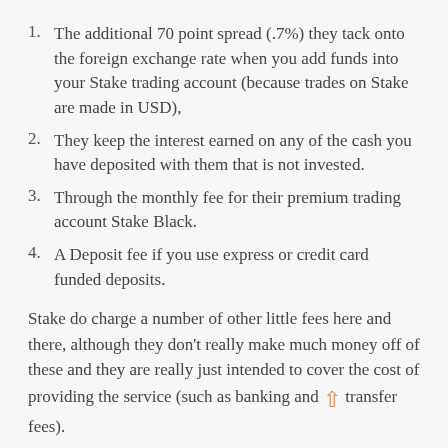The additional 70 point spread (.7%) they tack onto the foreign exchange rate when you add funds into your Stake trading account (because trades on Stake are made in USD),
They keep the interest earned on any of the cash you have deposited with them that is not invested.
Through the monthly fee for their premium trading account Stake Black.
A Deposit fee if you use express or credit card funded deposits.
Stake do charge a number of other little fees here and there, although they don't really make much money off of these and they are really just intended to cover the cost of providing the service (such as banking and transfer fees).